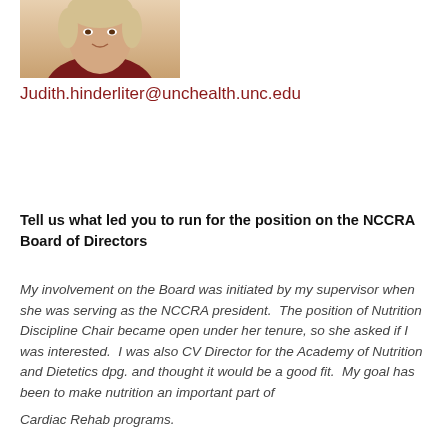[Figure (photo): Partial portrait photo of a person, cropped showing upper body and face area]
Judith.hinderliter@unchealth.unc.edu
Tell us what led you to run for the position on the NCCRA Board of Directors
My involvement on the Board was initiated by my supervisor when she was serving as the NCCRA president.  The position of Nutrition Discipline Chair became open under her tenure, so she asked if I was interested.  I was also CV Director for the Academy of Nutrition and Dietetics dpg. and thought it would be a good fit.  My goal has been to make nutrition an important part of
Cardiac Rehab programs.